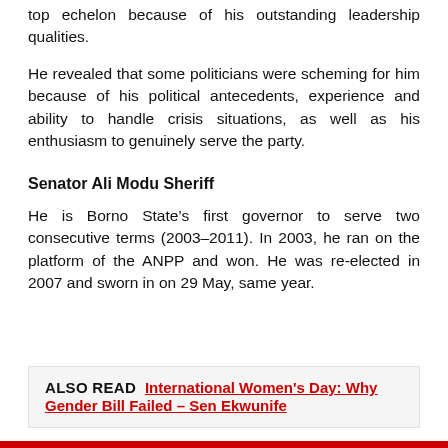top echelon because of his outstanding leadership qualities.
He revealed that some politicians were scheming for him because of his political antecedents, experience and ability to handle crisis situations, as well as his enthusiasm to genuinely serve the party.
Senator Ali Modu Sheriff
He is Borno State’s first governor to serve two consecutive terms (2003–2011). In 2003, he ran on the platform of the ANPP and won. He was re-elected in 2007 and sworn in on 29 May, same year.
ALSO READ  International Women's Day: Why Gender Bill Failed – Sen Ekwunife